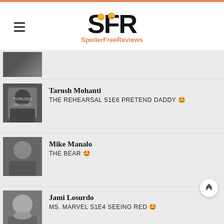SFR SpoilerFreeReviews
Tarush Mohanti - THE REHEARSAL S1E6 PRETEND DADDY 🤩
Mike Manalo - THE BEAR 🤩
Jami Losurdo - MS. MARVEL S1E4 SEEING RED 🤩
Eli Brumfield - THE INVITATION 🤢
David Freedman - Just Seen It - NOPE 🤩